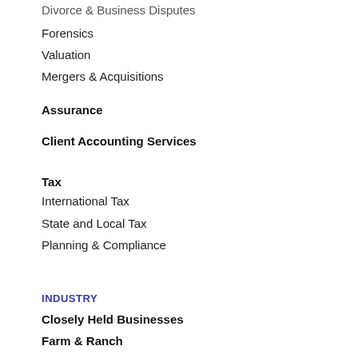Divorce & Business Disputes
Forensics
Valuation
Mergers & Acquisitions
Assurance
Client Accounting Services
Tax
International Tax
State and Local Tax
Planning & Compliance
INDUSTRY
Closely Held Businesses
Farm & Ranch
Oil, Gas & Energy
Personal & Family Office
Professional Services